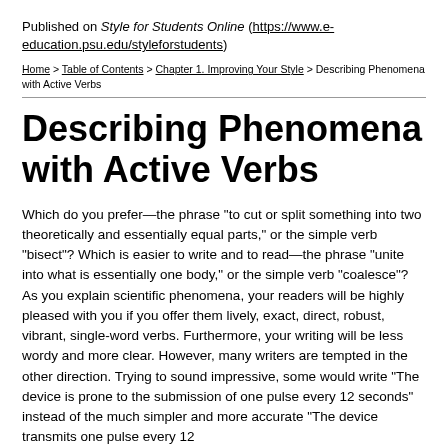Published on Style for Students Online (https://www.e-education.psu.edu/styleforstudents)
Home > Table of Contents > Chapter 1. Improving Your Style > Describing Phenomena with Active Verbs
Describing Phenomena with Active Verbs
Which do you prefer—the phrase "to cut or split something into two theoretically and essentially equal parts," or the simple verb "bisect"? Which is easier to write and to read—the phrase "unite into what is essentially one body," or the simple verb "coalesce"? As you explain scientific phenomena, your readers will be highly pleased with you if you offer them lively, exact, direct, robust, vibrant, single-word verbs. Furthermore, your writing will be less wordy and more clear. However, many writers are tempted in the other direction. Trying to sound impressive, some would write "The device is prone to the submission of one pulse every 12 seconds" instead of the much simpler and more accurate "The device transmits one pulse every 12